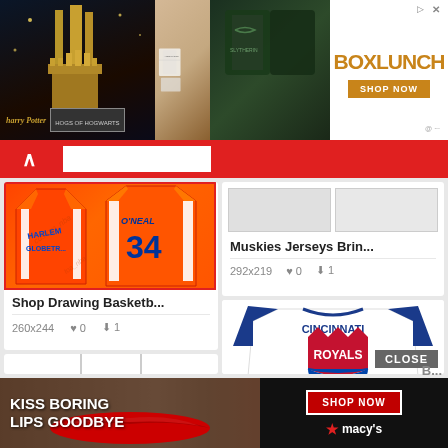[Figure (photo): BoxLunch advertisement banner at top with Harry Potter themed merchandise images on dark background, showing castle, clothing items, and BoxLunch logo with Shop Now button]
[Figure (screenshot): Red navigation bar with upward caret arrow and search box]
[Figure (photo): Orange basketball jersey with O'NEAL #34 text, Shop Drawing Basketball product card showing 260x244 dimensions, 0 likes, 1 download]
Shop Drawing Basketb...
260x244
[Figure (photo): Muskies Jerseys thumbnail images product card showing 292x219 dimensions, 0 likes, 1 download]
Muskies Jerseys Brin...
292x219
[Figure (photo): White and blue raglan baseball shirt with Cincinnati Royals NBA logo featuring red crown and basketball design, with CLOSE button overlay]
[Figure (photo): Blank white jersey card placeholder]
[Figure (photo): Macy's KISS BORING LIPS GOODBYE advertisement banner at bottom with red lips photo and Shop Now button]